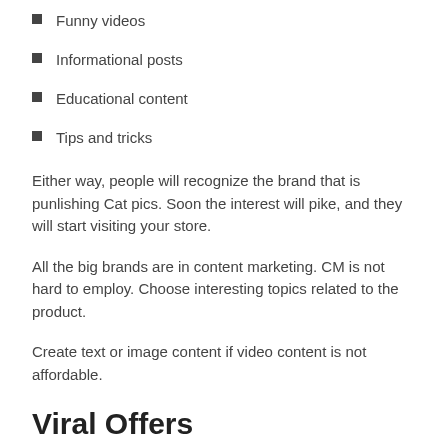Funny videos
Informational posts
Educational content
Tips and tricks
Either way, people will recognize the brand that is punlishing Cat pics. Soon the interest will pike, and they will start visiting your store.
All the big brands are in content marketing. CM is not hard to employ. Choose interesting topics related to the product.
Create text or image content if video content is not affordable.
Viral Offers
Creating a viral offer is another way to get organic traffic.